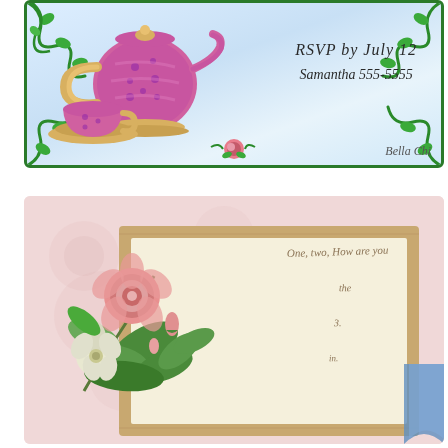[Figure (illustration): Tea party RSVP card with pink teapot and teacup illustration, green vine border decorations, text 'RSVP by July 12 / Samantha 555-5555', watercolor blue background, 'Bella Chi' watermark]
[Figure (illustration): Vintage-style note card template with floral bouquet (pink roses, white flowers, green leaves) in top-left corner, tan/kraft paper frame with cursive script text 'One, two, How are you...', cream interior writing area, blue ribbon accent, pink damask background]